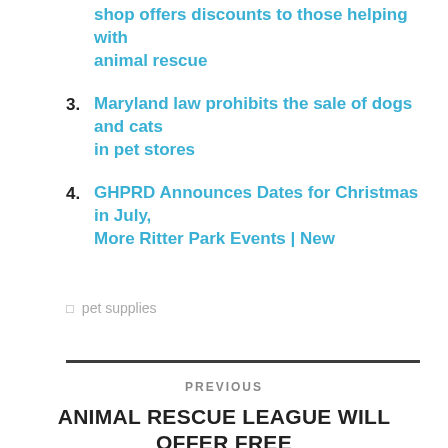shop offers discounts to those helping with animal rescue
3. Maryland law prohibits the sale of dogs and cats in pet stores
4. GHPRD Announces Dates for Christmas in July, More Ritter Park Events | New
🏷 pet supplies
PREVIOUS
ANIMAL RESCUE LEAGUE WILL OFFER FREE VACCINES AND MICROCHIPS FOR CATS AND